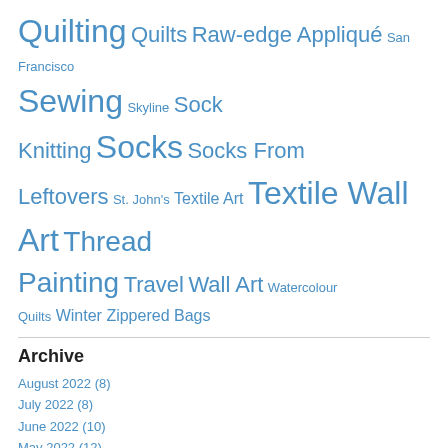Quilting Quilts Raw-edge Appliqué San Francisco Sewing Skyline Sock Knitting Socks Socks From Leftovers St. John's Textile Art Textile Wall Art Thread Painting Travel Wall Art Watercolour Quilts Winter Zippered Bags
Archive
August 2022 (8)
July 2022 (8)
June 2022 (10)
May 2022 (12)
April 2022 (7)
March 2022 (8)
February 2022 (6)
January 2022 (7)
December 2021 (11)